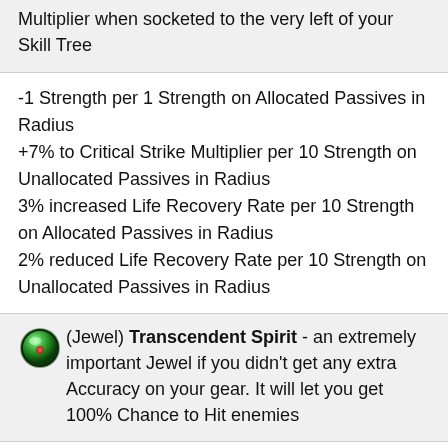Multiplier when socketed to the very left of your Skill Tree
-1 Strength per 1 Strength on Allocated Passives in Radius
+7% to Critical Strike Multiplier per 10 Strength on Unallocated Passives in Radius
3% increased Life Recovery Rate per 10 Strength on Allocated Passives in Radius
2% reduced Life Recovery Rate per 10 Strength on Unallocated Passives in Radius
(Jewel) Transcendent Spirit - an extremely important Jewel if you didn't get any extra Accuracy on your gear. It will let you get 100% Chance to Hit enemies
-1 Dexterity per 1 Dexterity on Allocated Passives in Radius
3% increased Movement Speed per 10 Dexterity on